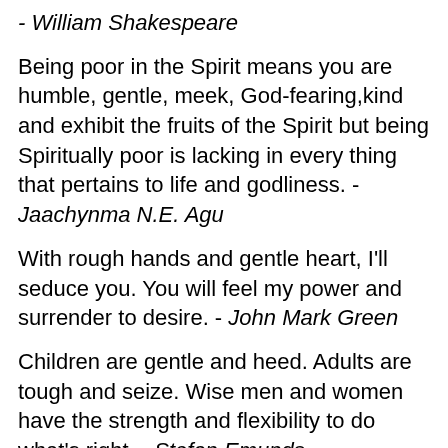- William Shakespeare
Being poor in the Spirit means you are humble, gentle, meek, God-fearing,kind and exhibit the fruits of the Spirit but being Spiritually poor is lacking in every thing that pertains to life and godliness. - Jaachynma N.E. Agu
With rough hands and gentle heart, I'll seduce you. You will feel my power and surrender to desire. - John Mark Green
Children are gentle and heed. Adults are tough and seize. Wise men and women have the strength and flexibility to do what's right. - Stefan Emunds